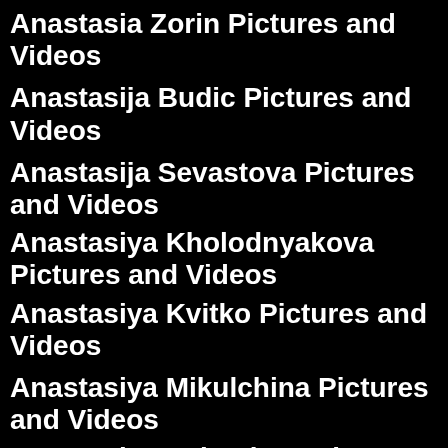Anastasia Zorin Pictures and Videos
Anastasija Budic Pictures and Videos
Anastasija Sevastova Pictures and Videos
Anastasiya Kholodnyakova Pictures and Videos
Anastasiya Kvitko Pictures and Videos
Anastasiya Mikulchina Pictures and Videos
Anastasiya Scheglova Pictures and Videos
Anastasiya Vertinskaya Pictures and